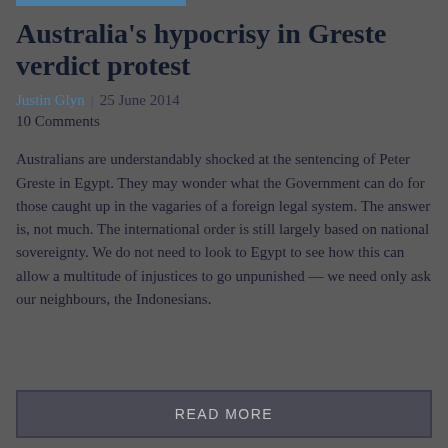Australia's hypocrisy in Greste verdict protest
Justin Glyn | 25 June 2014
10 Comments
Australians are understandably shocked at the sentencing of Peter Greste in Egypt. They may wonder what the Government can do for those caught up in the vagaries of a foreign legal system. The answer is, not much. The international order is still largely based on national sovereignty. We do not need to look to Egypt to see how this can allow a multitude of injustices to go unpunished — we need only ask our neighbours, the Indonesians.
READ MORE